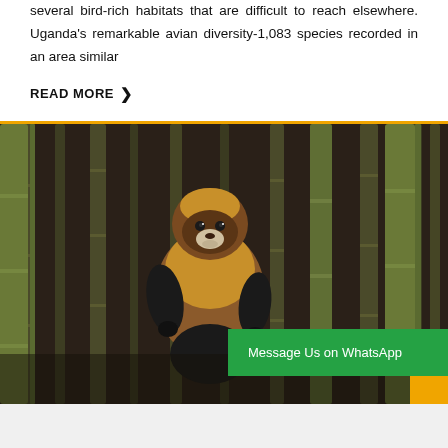several bird-rich habitats that are difficult to reach elsewhere. Uganda's remarkable avian diversity-1,083 species recorded in an area similar
READ MORE ❯
[Figure (photo): A golden monkey perched among bamboo stalks in a forest, looking upward. The monkey has distinctive golden-brown fur on its body and dark black limbs.]
Message Us on WhatsApp